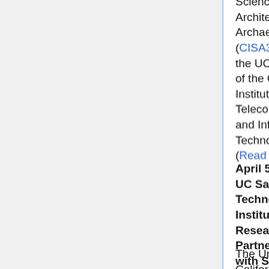Science for Art, Architecture and Archaeology (CISA3) within the UCSD division of the California Institute for Telecommunications and Information Technology (Calit2). (Read More)
April 5, 2010 - UC San Diego Technology Institute Forges Research Partnership with Saudi Institutions
The University of California, San Diego has